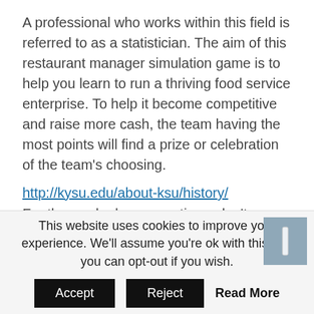A professional who works within this field is referred to as a statistician. The aim of this restaurant manager simulation game is to help you learn to run a thriving food service enterprise. To help it become competitive and raise more cash, the team having the most points will find a prize or celebration of the team's choosing.
http://kysu.edu/about-ksu/history/
For those who have questions, don't hesitate to leave a comment. Although his advice is apparently a very simple call for following our passions, it can readily lead us astray. This book, with no doubt, is absolutely among the most useful survival books you're ever going to purchase.
This website uses cookies to improve your experience. We'll assume you're ok with this, but you can opt-out if you wish.